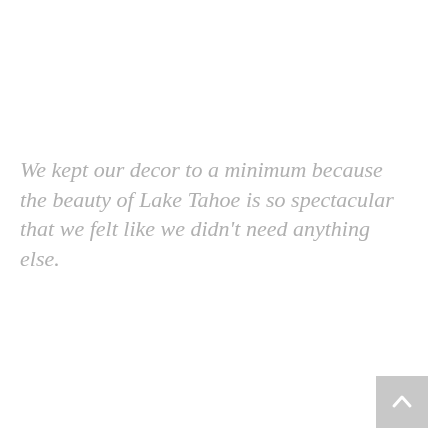We kept our decor to a minimum because the beauty of Lake Tahoe is so spectacular that we felt like we didn't need anything else.